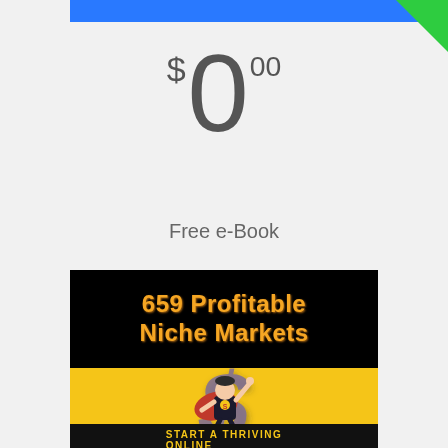$0.00
Free e-Book
[Figure (illustration): E-book cover for '659 Profitable Niche Markets' with black header containing orange/yellow bold title text, and yellow background showing a superhero cartoon character holding a large dollar sign, with a banner at the bottom reading 'START A THRIVING ONLINE']